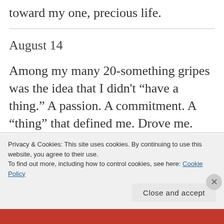toward my one, precious life.
August 14
Among my many 20-something gripes was the idea that I didn't “have a thing.” A passion. A commitment. A “thing” that defined me. Drove me.
Privacy & Cookies: This site uses cookies. By continuing to use this website, you agree to their use.
To find out more, including how to control cookies, see here: Cookie Policy
Close and accept